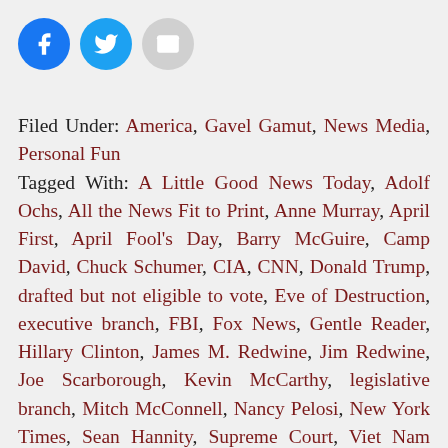[Figure (other): Social sharing icons: Facebook (blue circle), Twitter (blue circle), Email (grey circle)]
Filed Under: America, Gavel Gamut, News Media, Personal Fun
Tagged With: A Little Good News Today, Adolf Ochs, All the News Fit to Print, Anne Murray, April First, April Fool's Day, Barry McGuire, Camp David, Chuck Schumer, CIA, CNN, Donald Trump, drafted but not eligible to vote, Eve of Destruction, executive branch, FBI, Fox News, Gentle Reader, Hillary Clinton, James M. Redwine, Jim Redwine, Joe Scarborough, Kevin McCarthy, legislative branch, Mitch McConnell, Nancy Pelosi, New York Times, Sean Hannity, Supreme Court, Viet Nam War, Wolf Blitzer